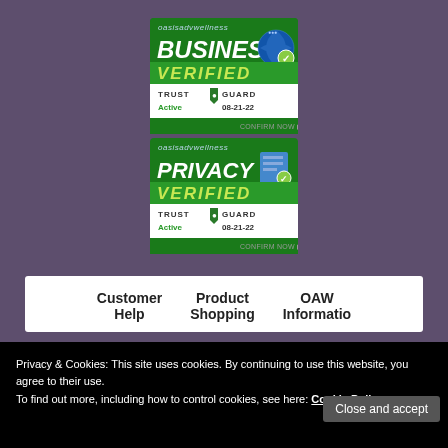[Figure (logo): Trust Guard Business Verified badge for oasisadvwellness, Active 08-21-22]
[Figure (logo): Trust Guard Privacy Verified badge for oasisadvwellness, Active 08-21-22]
Customer Product OAW
Help Shopping Informatio
Privacy & Cookies: This site uses cookies. By continuing to use this website, you agree to their use.
To find out more, including how to control cookies, see here: Cookie Policy
Close and accept
OAW & Subscribe
Returns Cleansingo
Internatio Natural Newsletter